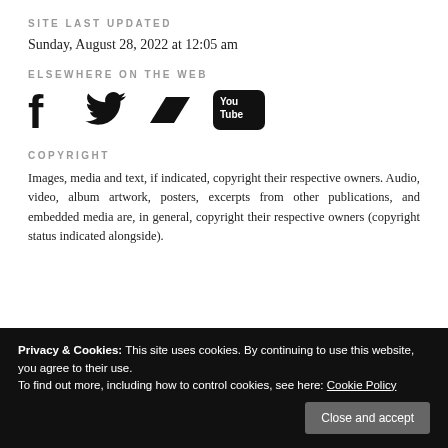SITE LAST UPDATED
Sunday, August 28, 2022 at 12:05 am
ELSEWHERE ON THE WEB
[Figure (illustration): Social media icons: Facebook, Twitter, Bandcamp (parallelogram), YouTube]
COPYRIGHT
Images, media and text, if indicated, copyright their respective owners. Audio, video, album artwork, posters, excerpts from other publications, and embedded media are, in general, copyright their respective owners (copyright status indicated alongside).
Privacy & Cookies: This site uses cookies. By continuing to use this website, you agree to their use.
To find out more, including how to control cookies, see here: Cookie Policy